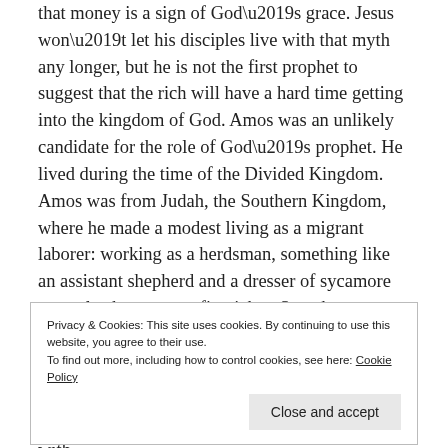that money is a sign of God’s grace. Jesus won’t let his disciples live with that myth any longer, but he is not the first prophet to suggest that the rich will have a hard time getting into the kingdom of God. Amos was an unlikely candidate for the role of God’s prophet. He lived during the time of the Divided Kingdom. Amos was from Judah, the Southern Kingdom, where he made a modest living as a migrant laborer: working as a herdsman, something like an assistant shepherd and a dresser of sycamore trees also known as a fig picker. Somehow, despite his lowly background in Judah, Amos found himself called to the Northern a Kingdom of Israel
Privacy & Cookies: This site uses cookies. By continuing to use this website, you agree to their use.
To find out more, including how to control cookies, see here: Cookie Policy
wealth, the poor got poorer. God grew impatient with